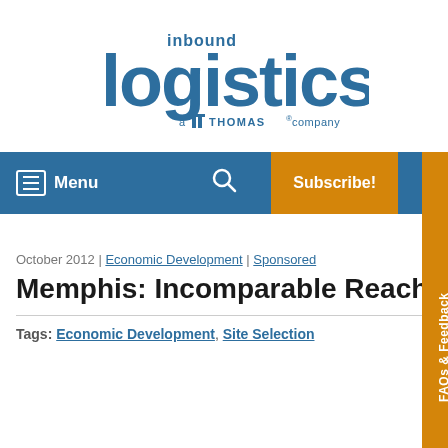[Figure (logo): Inbound Logistics logo — 'inbound logistics a Thomas company' in blue tones]
Menu  [search icon]  Subscribe!  FAQs & Feedback
October 2012 | Economic Development | Sponsored
Memphis: Incomparable Reach
Tags: Economic Development, Site Selection